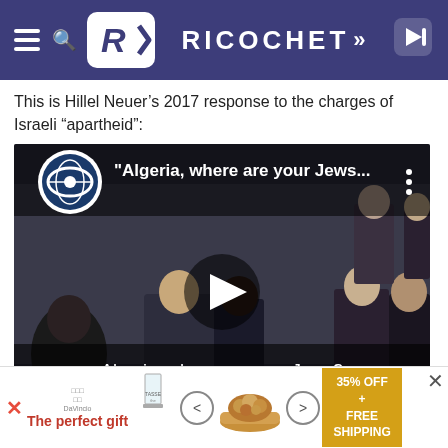RICOCHET
This is Hillel Neuer’s 2017 response to the charges of Israeli “apartheid”:
[Figure (screenshot): YouTube video thumbnail showing a UN session with the title 'Algeria, where are your Jews...' and subtitle 'Algeria, where are your Jews?' with a play button overlay]
#19